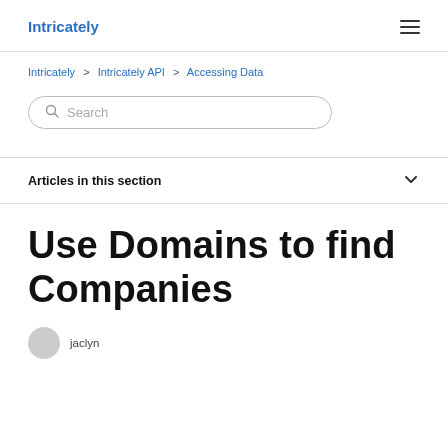Intricately
Intricately > Intricately API > Accessing Data
Search
Articles in this section
Use Domains to find Companies
jaclyn